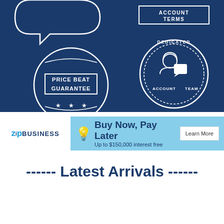[Figure (infographic): Dark blue banner with two badge/seal icons: left side shows a circular stamp with 'PRICE BEAT GUARANTEE' text in a rectangular box in the center and three stars at the bottom; right side shows 'ACCOUNT TERMS' in a bordered box at top right and a circular badge with a customer service agent icon and 'DEDICATED ACCOUNT TEAM' text around the circle.]
[Figure (infographic): ZIP BUSINESS logo on white background next to a light blue advertisement banner showing a lightbulb icon, 'Buy Now, Pay Later' headline, 'Up to $150,000 interest free' subtext, and a 'Learn More' button.]
------ Latest Arrivals ------